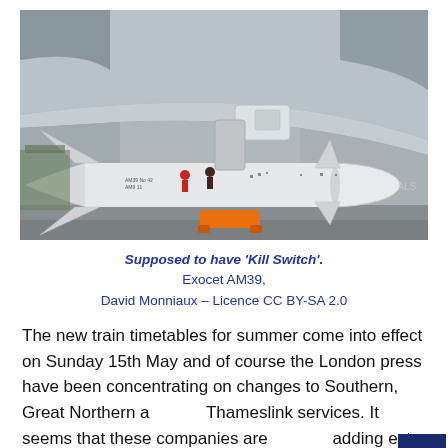[Figure (photo): Photograph of an Exocet AM39 air-launched anti-ship missile mounted under the fuselage of a military aircraft, shown from below at an angle. The missile is white with fins and a pointed nose. Orange ground equipment is visible beneath.]
Supposed to have 'Kill Switch'.
Exocet AM39,
David Monniaux – Licence CC BY-SA 2.0
The new train timetables for summer come into effect on Sunday 15th May and of course the London press have been concentrating on changes to Southern, Great Northern and Thameslink services. It seems that these companies are adding extra trains to their weekday services as people are